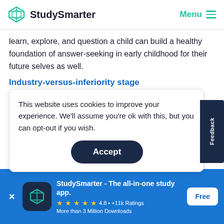StudySmarter | Menu
learn, explore, and question a child can build a healthy foundation of answer-seeking in early childhood for their future selves as well.
Industry-versus-inferiority stage
This website uses cookies to improve your experience. We'll assume you're ok with this, but you can opt-out if you wish.
This feeling of inferiority can haunt children into the
StudySmarter - The all-in-one study app.
★★★★★ 4.8 • +11k Ratings
More than 3 Million Downloads